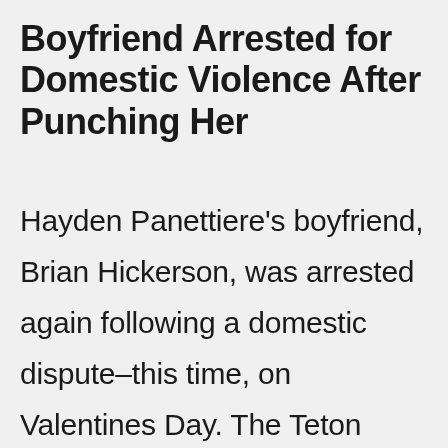Boyfriend Arrested for Domestic Violence After Punching Her
Hayden Panettiere's boyfriend, Brian Hickerson, was arrested again following a domestic dispute–this time, on Valentines Day. The Teton County Sheriff's public information officer confirmed that South Carolina native Bri...